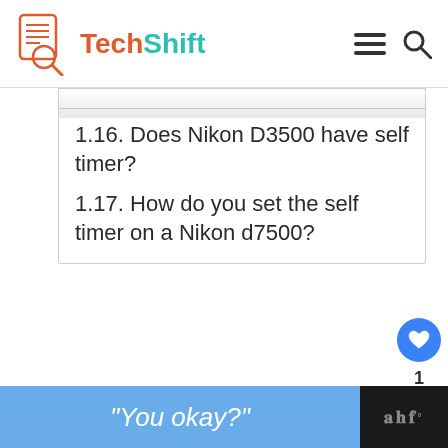TechShift
1.16. Does Nikon D3500 have self timer?
1.17. How do you set the self timer on a Nikon d7500?
How do I update my Nikon D50 firmware?
"You okay?"